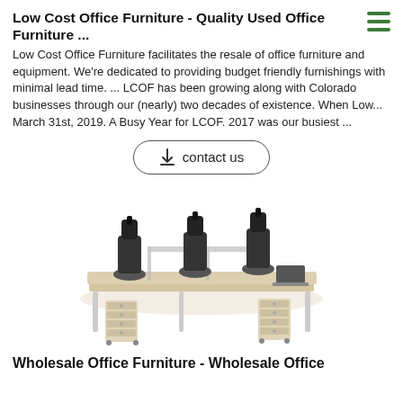Low Cost Office Furniture - Quality Used Office Furniture ...
Low Cost Office Furniture facilitates the resale of office furniture and equipment. We're dedicated to providing budget friendly furnishings with minimal lead time. ... LCOF has been growing along with Colorado businesses through our (nearly) two decades of existence. When Low... March 31st, 2019. A Busy Year for LCOF. 2017 was our busiest ...
[Figure (other): A button/link labeled 'contact us' with a download arrow icon, styled with a rounded rectangle border]
[Figure (photo): Photo of a modern office workstation setup with four black mesh chairs and a long light wood desk divided by gray divider panels, with white metal legs and small filing cabinet pedestals underneath]
Wholesale Office Furniture - Wholesale Office